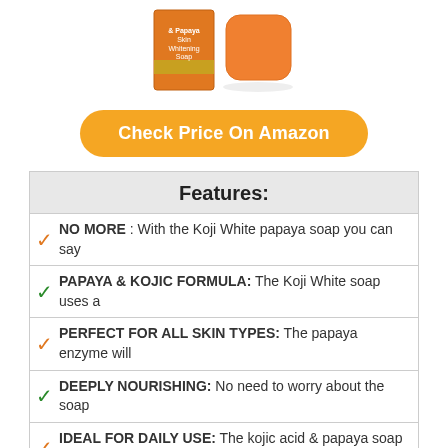[Figure (photo): Product photo of Koji White papaya soap box and orange soap bar]
Check Price On Amazon
| Features: |
| --- |
| ✓ NO MORE : With the Koji White papaya soap you can say |
| ✓ PAPAYA & KOJIC FORMULA: The Koji White soap uses a |
| ✓ PERFECT FOR ALL SKIN TYPES: The papaya enzyme will |
| ✓ DEEPLY NOURISHING: No need to worry about the soap |
| ✓ IDEAL FOR DAILY USE: The kojic acid & papaya soap is |
6. MAKARI EXTREME CARROT & ARGAN OIL SKIN TONING 3 PC. GIFT SET – LIGHTENING